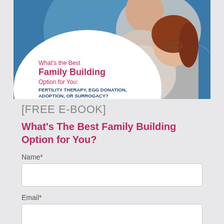[Figure (illustration): Book cover showing a couple embracing. Blue background with a large white circle. Text reads: 'What's the Best Family Building Option for You:' in pink/red, then 'FERTILITY THERAPY, EGG DONATION, ADOPTION, OR SURROGACY?' in dark blue bold uppercase.]
[FREE E-BOOK]
What's The Best Family Building Option for You?
Name*
Email*